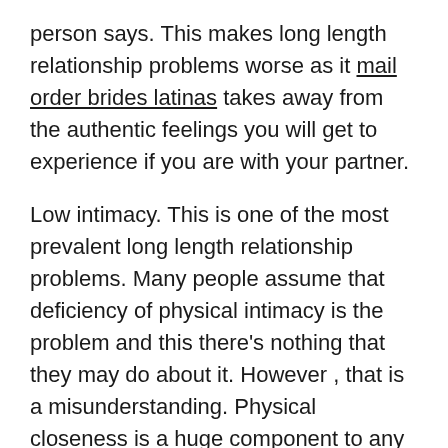person says. This makes long length relationship problems worse as it mail order brides latinas takes away from the authentic feelings you will get to experience if you are with your partner.
Low intimacy. This is one of the most prevalent long length relationship problems. Many people assume that deficiency of physical intimacy is the problem and this there's nothing that they may do about it. However , that is a misunderstanding. Physical closeness is a huge component to any relationship, and if one person is uncomfortable with having physical intimacy with their spouse more than they should be, then absolutely something that should be discussed with all your partner as well.